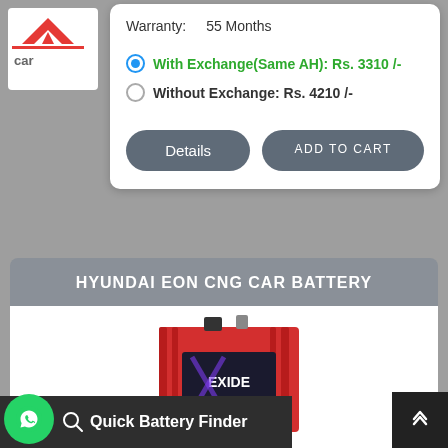[Figure (logo): Car battery website logo with bird icon and 'car' text]
Warranty:    55 Months
With Exchange(Same AH): Rs. 3310 /-
Without Exchange: Rs. 4210 /-
Details
ADD TO CART
HYUNDAI EON CNG CAR BATTERY
[Figure (photo): Red Exide Matrix car battery product photo]
Quick Battery Finder